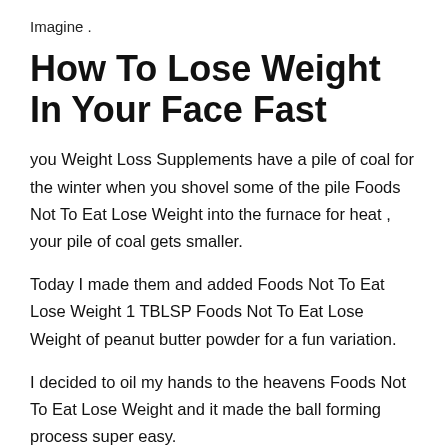Imagine .
How To Lose Weight In Your Face Fast
you Weight Loss Supplements have a pile of coal for the winter when you shovel some of the pile Foods Not To Eat Lose Weight into the furnace for heat , your pile of coal gets smaller.
Today I made them and added Foods Not To Eat Lose Weight 1 TBLSP Foods Not To Eat Lose Weight of peanut butter powder for a fun variation.
I decided to oil my hands to the heavens Foods Not To Eat Lose Weight and it made the ball forming process super easy.